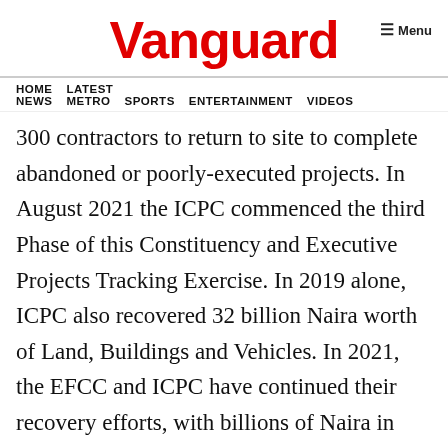Vanguard
HOME  LATEST NEWS  METRO  SPORTS  ENTERTAINMENT  VIDEOS
300 contractors to return to site to complete abandoned or poorly-executed projects. In August 2021 the ICPC commenced the third Phase of this Constituency and Executive Projects Tracking Exercise. In 2019 alone, ICPC also recovered 32 billion Naira worth of Land, Buildings and Vehicles. In 2021, the EFCC and ICPC have continued their recovery efforts, with billions of Naira in cash assets already recovered, either through Interim or Final Forfeiture Orders.